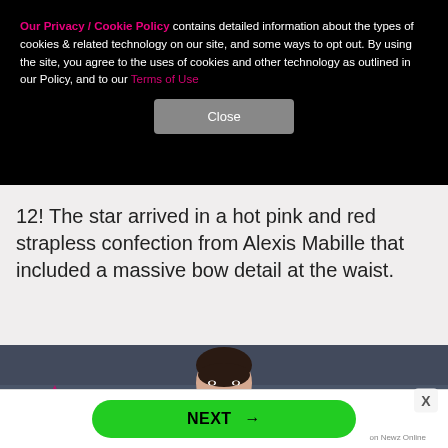Our Privacy / Cookie Policy contains detailed information about the types of cookies & related technology on our site, and some ways to opt out. By using the site, you agree to the uses of cookies and other technology as outlined in our Policy, and to our Terms of Use
Close
12! The star arrived in a hot pink and red strapless confection from Alexis Mabille that included a massive bow detail at the waist.
[Figure (photo): Photo of a woman with dark hair pulled back, smiling, against a dark blue-grey background with pink floral decorations visible on the left side.]
NEXT →
on Newz Online